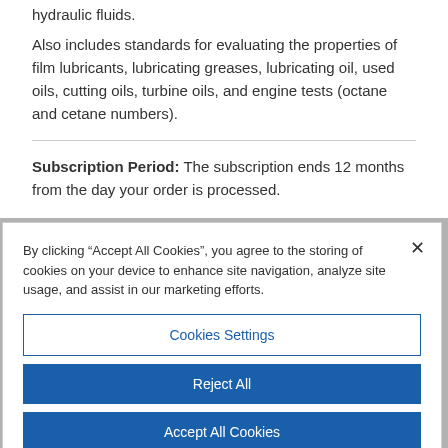hydraulic fluids.
Also includes standards for evaluating the properties of film lubricants, lubricating greases, lubricating oil, used oils, cutting oils, turbine oils, and engine tests (octane and cetane numbers).
Subscription Period: The subscription ends 12 months from the day your order is processed.
By clicking “Accept All Cookies”, you agree to the storing of cookies on your device to enhance site navigation, analyze site usage, and assist in our marketing efforts.